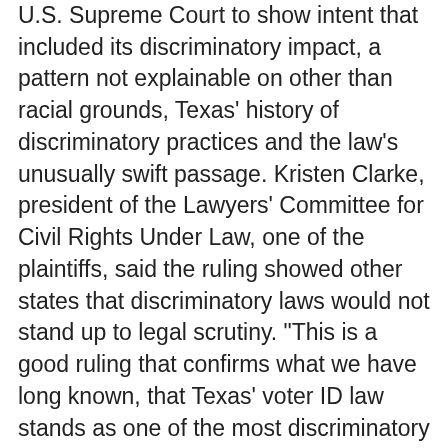U.S. Supreme Court to show intent that included its discriminatory impact, a pattern not explainable on other than racial grounds, Texas' history of discriminatory practices and the law's unusually swift passage. Kristen Clarke, president of the Lawyers' Committee for Civil Rights Under Law, one of the plaintiffs, said the ruling showed other states that discriminatory laws would not stand up to legal scrutiny. “This is a good ruling that confirms what we have long known, that Texas’ voter ID law stands as one of the most discriminatory voting restrictions of its kind,” she said. In a shift from its stance under former President Barack Obama, the U.S. Justice Department dropped a discrimination claim against the law in February. The department